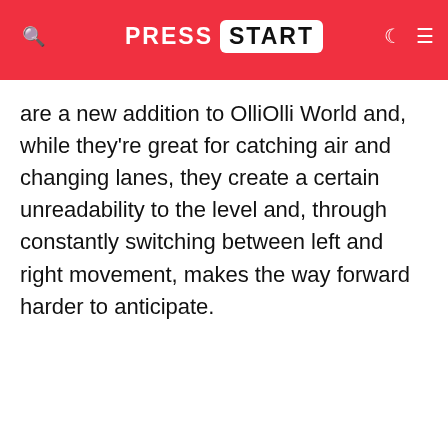PRESS START
are a new addition to OlliOlli World and, while they're great for catching air and changing lanes, they create a certain unreadability to the level and, through constantly switching between left and right movement, makes the way forward harder to anticipate.